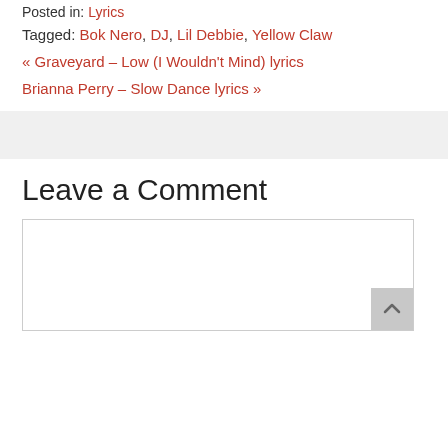Posted in: Lyrics
Tagged: Bok Nero, DJ, Lil Debbie, Yellow Claw
« Graveyard – Low (I Wouldn't Mind) lyrics
Brianna Perry – Slow Dance lyrics »
Leave a Comment